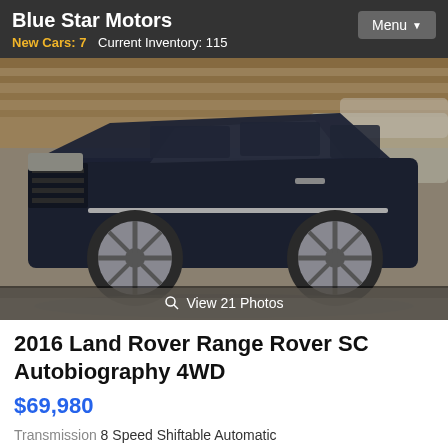Blue Star Motors  New Cars: 7   Current Inventory: 115   Menu
[Figure (photo): Dark navy blue 2016 Land Rover Range Rover SC Autobiography 4WD parked inside a dealership showroom with other cars in the background. The photo has a 'View 21 Photos' overlay button at the bottom.]
2016 Land Rover Range Rover SC Autobiography 4WD
$69,980
Transmission 8 Speed Shiftable Automatic